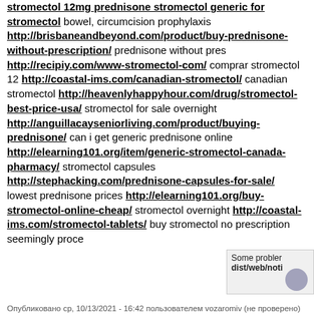stromectol 12mg prednisone stromectol generic for stromectol bowel, circumcision prophylaxis http://brisbaneandbeyond.com/product/buy-prednisone-without-prescription/ prednisone without pres http://recipiy.com/www-stromectol-com/ comprar stromectol 12 http://coastal-ims.com/canadian-stromectol/ canadian stromectol http://heavenlyhappyhour.com/drug/stromectol-best-price-usa/ stromectol for sale overnight http://anguillacayseniorliving.com/product/buying-prednisone/ can i get generic prednisone online http://elearning101.org/item/generic-stromectol-canada-pharmacy/ stromectol capsules http://stephacking.com/prednisone-capsules-for-sale/ lowest prednisone prices http://elearning101.org/buy-stromectol-online-cheap/ stromectol overnight http://coastal-ims.com/stromectol-tablets/ buy stromectol no prescription seemingly proce
Опубликовано ср, 10/13/2021 - 16:42 пользователем vozaromiv (не проверено)